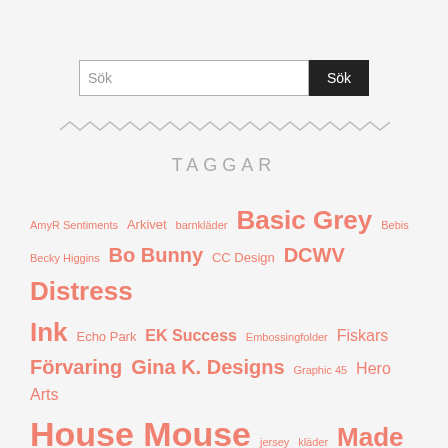[Figure (other): Search bar with text input labeled 'Sök' and a black button labeled 'Sök']
TAGGAR
AmyR Sentiments Arkivet barnkläder Basic Grey Bebis Becky Higgins Bo Bunny CC Design DCWV Distress Ink Echo Park EK Success Embossingfolder Fiskars Förvaring Gina K. Designs Graphic 45 Hero Arts House Mouse jersey kläder Made by Runi Magnolia Maja Design My favorite Things (MFT) My Minds Eye Nellie Snellen Nestabilities Penny Black Project Life Provocraft pärlor Reprint Shopping silikonpärlor Sketch Challenge Spellbinders